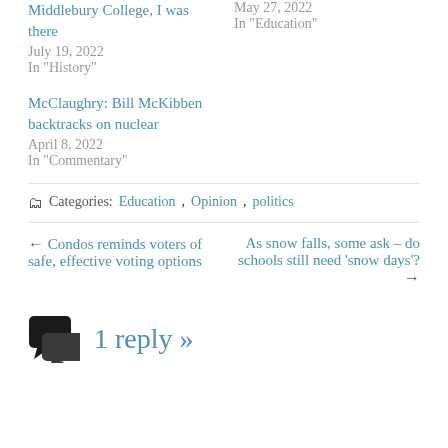Middlebury College, I was there
July 19, 2022
In "History"

McClaughry: Bill McKibben backtracks on nuclear
April 8, 2022
In "Commentary"

May 27, 2022
In "Education"
Categories: Education, Opinion, politics
← Condos reminds voters of safe, effective voting options
As snow falls, some ask – do schools still need 'snow days'? →
1 reply »